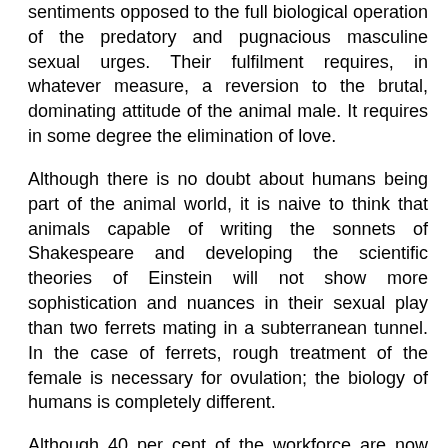sentiments opposed to the full biological operation of the predatory and pugnacious masculine sexual urges. Their fulfilment requires, in whatever measure, a reversion to the brutal, dominating attitude of the animal male. It requires in some degree the elimination of love.
Although there is no doubt about humans being part of the animal world, it is naive to think that animals capable of writing the sonnets of Shakespeare and developing the scientific theories of Einstein will not show more sophistication and nuances in their sexual play than two ferrets mating in a subterranean tunnel. In the case of ferrets, rough treatment of the female is necessary for ovulation; the biology of humans is completely different.
Although 40 per cent of the workforce are now women, who are making inroads into education and jobs that were formerly reserved for men, it is still men who are expected to “succeed” financially. Under capitalism, their whole self-esteem is so closely tied in with their earning capacity and their jobs that unemployment or failure to get promoted can